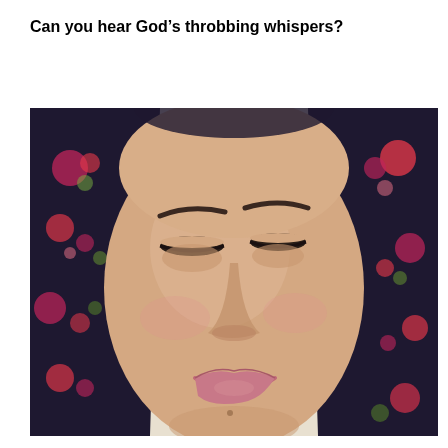Can you hear God’s throbbing whispers?
[Figure (photo): Close-up photo of a woman wearing a dark floral hijab, eyes closed or nearly closed, smiling gently. The photo shows her face from forehead to chin, cropped tightly.]